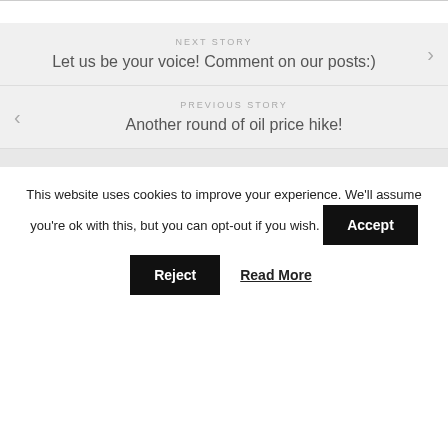NEXT STORY
Let us be your voice! Comment on our posts:)
PREVIOUS STORY
Another round of oil price hike!
This website uses cookies to improve your experience. We'll assume you're ok with this, but you can opt-out if you wish.
Accept
Reject
Read More